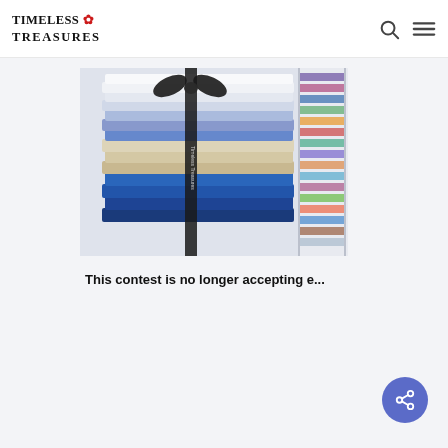Timeless Treasures
[Figure (photo): Stack of fabric fat quarters in blue and cream tones tied with a black ribbon, with a fabric display rack visible to the right]
This contest is no longer accepting e...